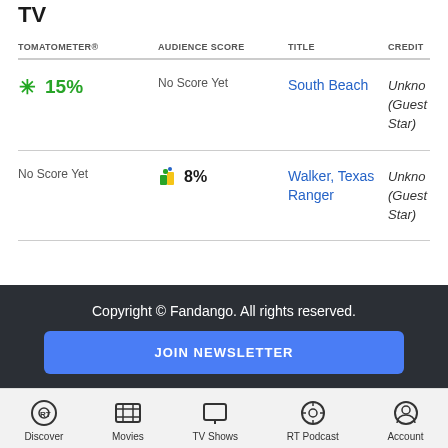TV
| TOMATOMETER® | AUDIENCE SCORE | TITLE | CREDIT |
| --- | --- | --- | --- |
| 15% | No Score Yet | South Beach | Unknown (Guest Star) |
| No Score Yet | 8% | Walker, Texas Ranger | Unknown (Guest Star) |
Copyright © Fandango. All rights reserved.
JOIN NEWSLETTER
Discover | Movies | TV Shows | RT Podcast | Account